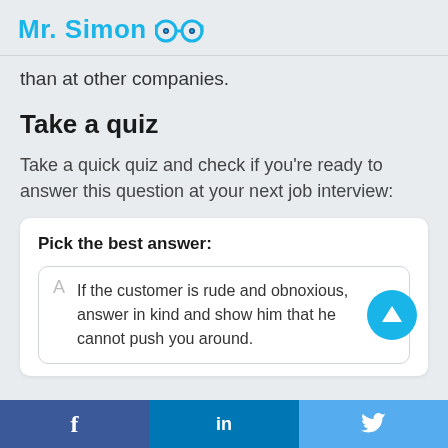Mr. Simon
than at other companies.
Take a quiz
Take a quick quiz and check if you're ready to answer this question at your next job interview:
Pick the best answer:
A  If the customer is rude and obnoxious, answer in kind and show him that he cannot push you around.
f  in  (twitter bird)